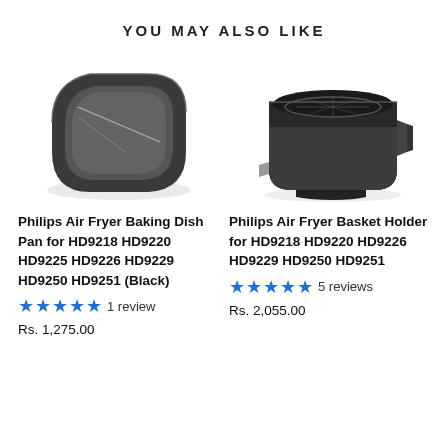YOU MAY ALSO LIKE
[Figure (photo): Philips Air Fryer Baking Dish Pan, black square non-stick pan viewed from above at an angle]
[Figure (photo): Philips Air Fryer Basket Holder, black rectangular basket with handle clips viewed from the side]
Philips Air Fryer Baking Dish Pan for HD9218 HD9220 HD9225 HD9226 HD9229 HD9250 HD9251 (Black)
★★★★★ 1 review
Rs. 1,275.00
Philips Air Fryer Basket Holder for HD9218 HD9220 HD9226 HD9229 HD9250 HD9251
★★★★★ 5 reviews
Rs. 2,055.00